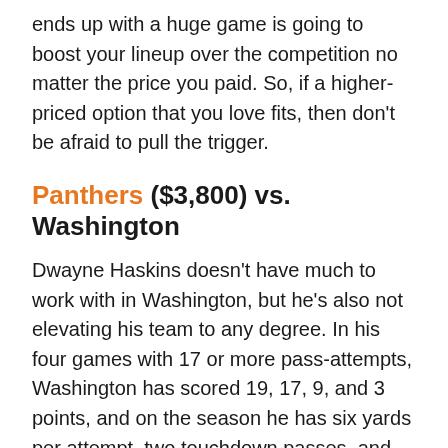ends up with a huge game is going to boost your lineup over the competition no matter the price you paid. So, if a higher-priced option that you love fits, then don't be afraid to pull the trigger.
Panthers ($3,800) vs. Washington
Dwayne Haskins doesn't have much to work with in Washington, but he's also not elevating his team to any degree. In his four games with 17 or more pass-attempts, Washington has scored 19, 17, 9, and 3 points, and on the season he has six yards per attempt, two touchdown passes, and six interceptions. The Panthers have scuffled defensively of late, but at home against the rookie, they're poised for a strong outing.